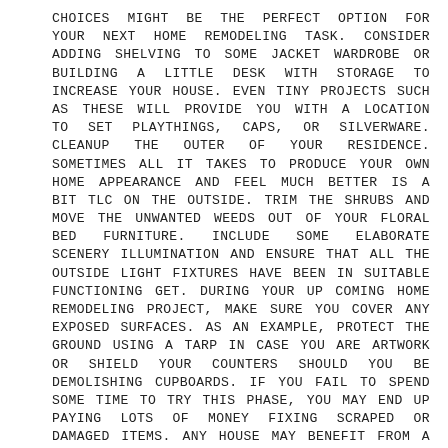CHOICES MIGHT BE THE PERFECT OPTION FOR YOUR NEXT HOME REMODELING TASK. CONSIDER ADDING SHELVING TO SOME JACKET WARDROBE OR BUILDING A LITTLE DESK WITH STORAGE TO INCREASE YOUR HOUSE. EVEN TINY PROJECTS SUCH AS THESE WILL PROVIDE YOU WITH A LOCATION TO SET PLAYTHINGS, CAPS, OR SILVERWARE. CLEANUP THE OUTER OF YOUR RESIDENCE. SOMETIMES ALL IT TAKES TO PRODUCE YOUR OWN HOME APPEARANCE AND FEEL MUCH BETTER IS A BIT TLC ON THE OUTSIDE. TRIM THE SHRUBS AND MOVE THE UNWANTED WEEDS OUT OF YOUR FLORAL BED FURNITURE. INCLUDE SOME ELABORATE SCENERY ILLUMINATION AND ENSURE THAT ALL THE OUTSIDE LIGHT FIXTURES HAVE BEEN IN SUITABLE FUNCTIONING GET. DURING YOUR UP COMING HOME REMODELING PROJECT, MAKE SURE YOU COVER ANY EXPOSED SURFACES. AS AN EXAMPLE, PROTECT THE GROUND USING A TARP IN CASE YOU ARE ARTWORK OR SHIELD YOUR COUNTERS SHOULD YOU BE DEMOLISHING CUPBOARDS. IF YOU FAIL TO SPEND SOME TIME TO TRY THIS PHASE, YOU MAY END UP PAYING LOTS OF MONEY FIXING SCRAPED OR DAMAGED ITEMS. ANY HOUSE MAY BENEFIT FROM A STANDARD ARTWORK TIMETABLE. PAINTING IS ONE OF INDIVIDUALS REDESIGNING ACTIVITIES WHICH IS NOT CRUCIAL, BUT MAINTAINING ITS SMART SUBSTANTIAL BENEFITS. A RESIDENCE WHICH WAS COLORED AND REPAINTED AT FREQUENT TIME PERIODS WILL LOOK MORE DESIRABLE TO POTENTIAL